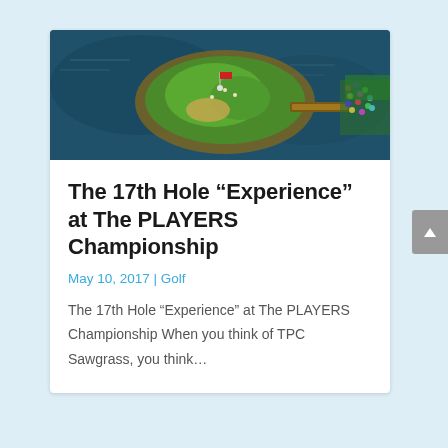[Figure (photo): Aerial view of the island green 17th hole at TPC Sawgrass, surrounded by water, with a narrow bridge walkway and spectators visible on the right side.]
The 17th Hole “Experience” at The PLAYERS Championship
May 10, 2017 | Golf
The 17th Hole “Experience” at The PLAYERS Championship When you think of TPC Sawgrass, you think…